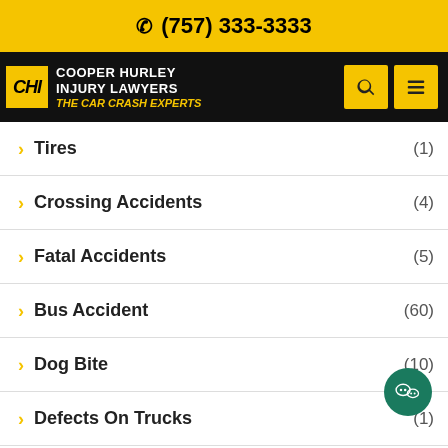(757) 333-3333
Cooper Hurley Injury Lawyers — The Car Crash Experts
> Tires (1)
> Crossing Accidents (4)
> Fatal Accidents (5)
> Bus Accident (60)
> Dog Bite (10)
> Defects On Trucks (1)
> Safety Appliance Act
> Tankers (2)